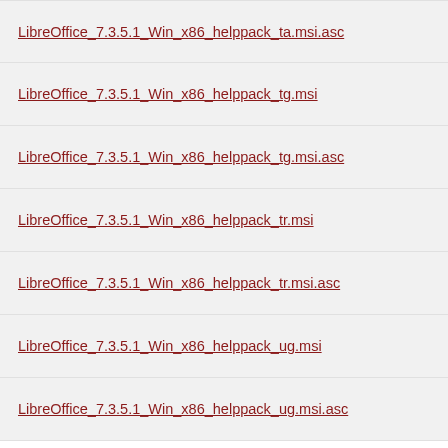LibreOffice_7.3.5.1_Win_x86_helppack_ta.msi.asc
LibreOffice_7.3.5.1_Win_x86_helppack_tg.msi
LibreOffice_7.3.5.1_Win_x86_helppack_tg.msi.asc
LibreOffice_7.3.5.1_Win_x86_helppack_tr.msi
LibreOffice_7.3.5.1_Win_x86_helppack_tr.msi.asc
LibreOffice_7.3.5.1_Win_x86_helppack_ug.msi
LibreOffice_7.3.5.1_Win_x86_helppack_ug.msi.asc